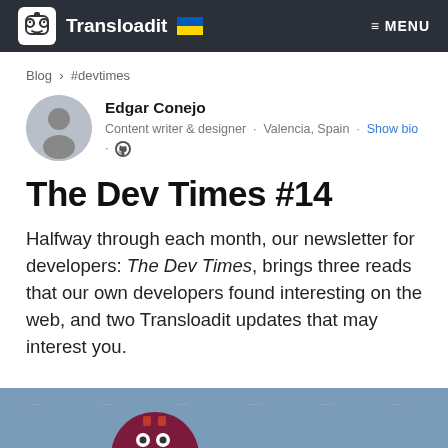Transloadit 🇺🇦  ≡ MENU
Blog › #devtimes
Edgar Conejo
Content writer & designer · Valencia, Spain · Show bio ·
The Dev Times #14
Halfway through each month, our newsletter for developers: The Dev Times, brings three reads that our own developers found interesting on the web, and two Transloadit updates that may interest you.
[Figure (illustration): Bottom strip of a newsletter illustration with blue-grey background showing dotted rows and a partial dark red gear/robot circle icon at the bottom center.]